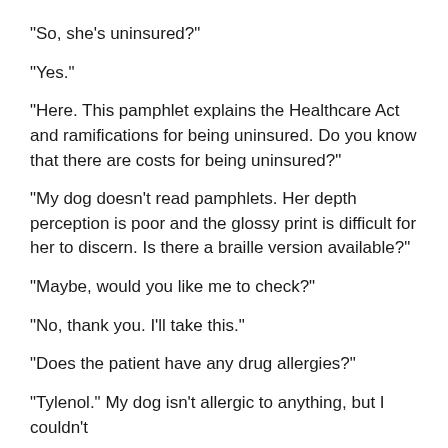“So, she’s uninsured?”
“Yes.”
“Here. This pamphlet explains the Healthcare Act and ramifications for being uninsured. Do you know that there are costs for being uninsured?”
“My dog doesn’t read pamphlets. Her depth perception is poor and the glossy print is difficult for her to discern. Is there a braille version available?”
“Maybe, would you like me to check?”
“No, thank you. I’ll take this.”
“Does the patient have any drug allergies?”
“Tylenol.” My dog isn’t allergic to anything, but I couldn’t